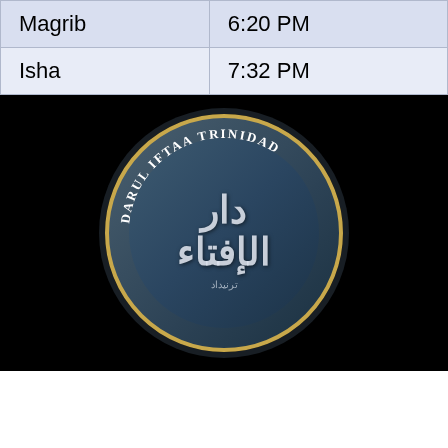| Prayer | Time |
| --- | --- |
| Magrib | 6:20 PM |
| Isha | 7:32 PM |
[Figure (logo): Darul Iftaa Trinidad logo — circular emblem with gold border ring, Arabic calligraphy 'Dar al-Iftaa' in center, circular text reading 'DARUL IFTAA TRINIDAD' on top arc and 'JAMIA MADINATUL ULOOM' on bottom arc, on black background.]